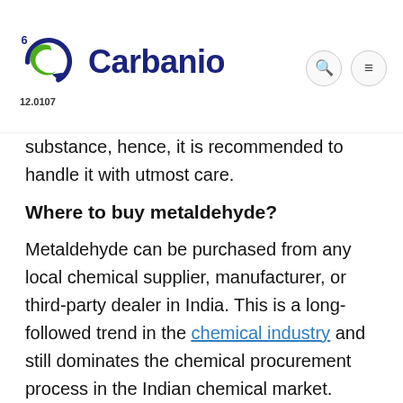Carbanio 12.0107
substance, hence, it is recommended to handle it with utmost care.
Where to buy metaldehyde?
Metaldehyde can be purchased from any local chemical supplier, manufacturer, or third-party dealer in India. This is a long-followed trend in the chemical industry and still dominates the chemical procurement process in the Indian chemical market. Though the wave of digitization has taken the world by a storm, the process of digitization in still at a nascent stage in India, but with the ever-growing digital platform...